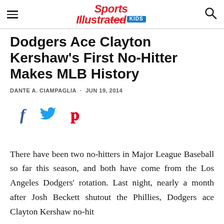Sports Illustrated Kids
Dodgers Ace Clayton Kershaw's First No-Hitter Makes MLB History
DANTE A. CIAMPAGLIA · JUN 19, 2014
[Figure (illustration): Social media sharing icons: Facebook (f), Twitter (bird), Pinterest (p)]
There have been two no-hitters in Major League Baseball so far this season, and both have come from the Los Angeles Dodgers' rotation. Last night, nearly a month after Josh Beckett shutout the Phillies, Dodgers ace Clayton Kershaw no-hit